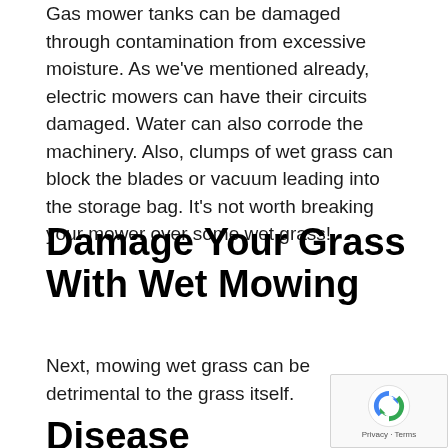Gas mower tanks can be damaged through contamination from excessive moisture. As we've mentioned already, electric mowers can have their circuits damaged. Water can also corrode the machinery. Also, clumps of wet grass can block the blades or vacuum leading into the storage bag. It's not worth breaking your mower over some wet grass!
Damage Your Grass With Wet Mowing
Next, mowing wet grass can be detrimental to the grass itself.
Disease Spreading